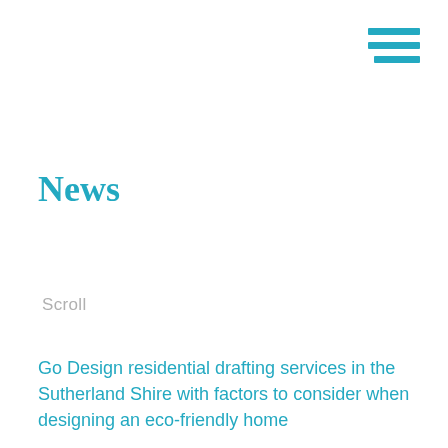[Figure (other): Hamburger menu icon made of three teal horizontal lines]
News
Scroll
Go Design residential drafting services in the Sutherland Shire with factors to consider when designing an eco-friendly home